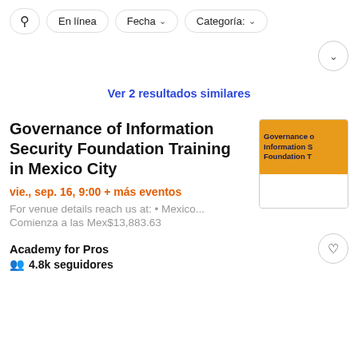En línea | Fecha | Categoría:
Ver 2 resultados similares
Governance of Information Security Foundation Training in Mexico City
vie., sep. 16, 9:00 + más eventos
For venue details reach us at: • Mexico...
Comienza a las Mex$13,883.63
Academy for Pros
4.8k seguidores